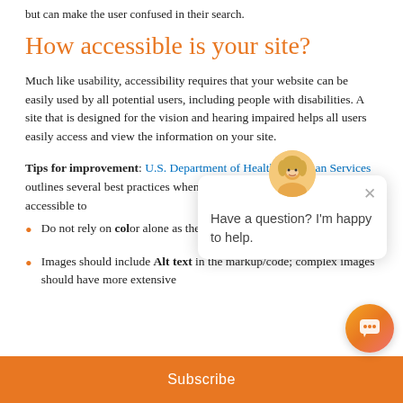but can make the user confused in their search.
How accessible is your site?
Much like usability, accessibility requires that your website can be easily used by all potential users, including people with disabilities. A site that is designed for the vision and hearing impaired helps all users easily access and view the information on your site.
Tips for improvement: U.S. Department of Health & Human Services outlines several best practices when creating digital content that's accessible to
Do not rely on color alone as the sole way to differe
Images should include Alt text in the markup/code; complex images should have more extensive
[Figure (screenshot): Chat widget overlay with avatar and message 'Have a question? I'm happy to help.' with a close button]
Subscribe